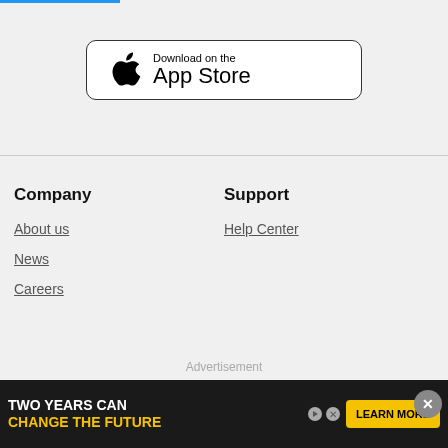[Figure (logo): Download on the App Store button]
Company
About us
News
Careers
Support
Help Center
Advertisement
[Figure (screenshot): Advertisement banner: TWO YEARS CAN CHANGE THE FUTURE — LEARN MORE button]